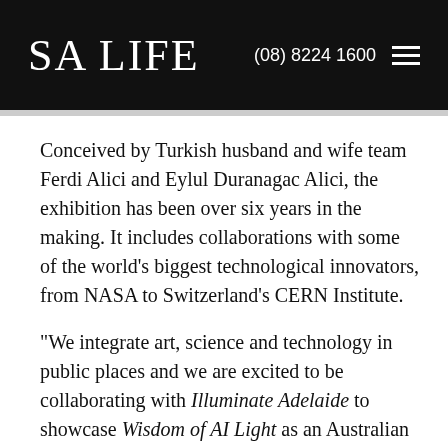SA LIFE  (08) 8224 1600
Conceived by Turkish husband and wife team Ferdi Alici and Eylul Duranagac Alici, the exhibition has been over six years in the making. It includes collaborations with some of the world's biggest technological innovators, from NASA to Switzerland's CERN Institute.
“We integrate art, science and technology in public places and we are excited to be collaborating with Illuminate Adelaide to showcase Wisdom of AI Light as an Australian exclusive,” Ferdi said.
(partial text continues below)